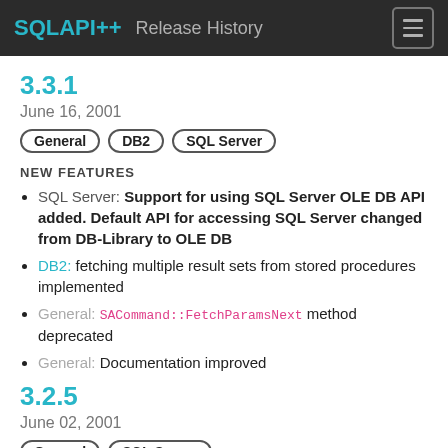SQLAPI++  Release History
3.3.1
June 16, 2001
General  DB2  SQL Server
NEW FEATURES
SQL Server: Support for using SQL Server OLE DB API added. Default API for accessing SQL Server changed from DB-Library to OLE DB
DB2: fetching multiple result sets from stored procedures implemented
General: SACommand::FetchParamsNext method deprecated
General: Documentation improved
3.2.5
June 02, 2001
General  SQL Server